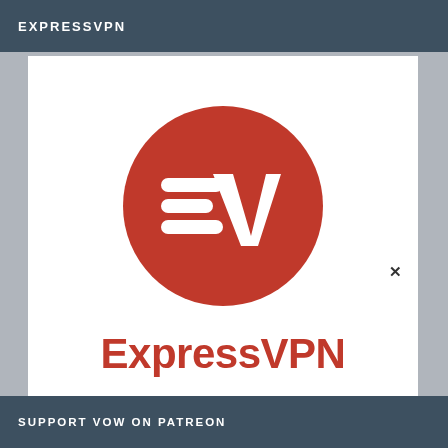EXPRESSVPN
[Figure (logo): ExpressVPN logo: red circle with white stylized 'EV' letters (three horizontal lines on left representing E, and a V shape on right), above the text 'ExpressVPN' in red]
×
SUPPORT VOW ON PATREON